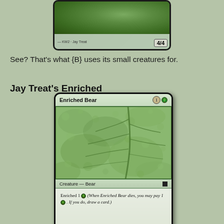[Figure (illustration): Partial view of a Magic: The Gathering card showing bottom portion with green leaf art and power/toughness of 4/4]
See? That's what {B} uses its small creatures for.
Jay Treat's Enriched
[Figure (illustration): Magic: The Gathering card named 'Enriched Bear' with mana cost 1G, green leaf close-up art, type line 'Creature — Bear', oracle text 'Enriched 1G (When Enriched Bear dies, you may pay 1G. If you do, draw a card.)', and partial power/toughness visible at bottom]